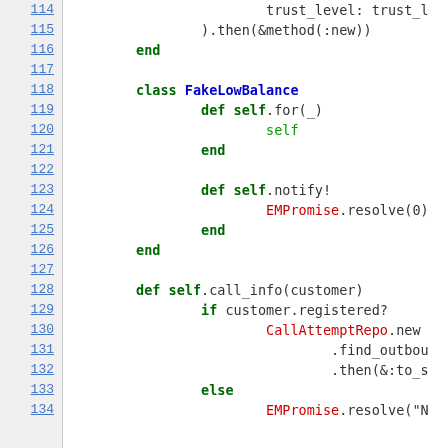[Figure (screenshot): Source code viewer showing Ruby code lines 114-134 with syntax highlighting. Line numbers on the left in blue underlined text, code on the right with green keywords, red strings/class names, and black default text on white background.]